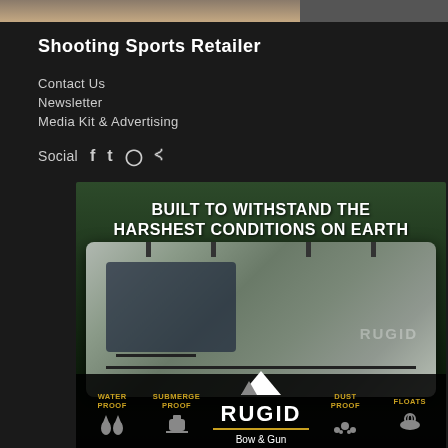[Figure (photo): Top strip showing partial image of what appears to be an animal/hunting scene on the left and a dark gray area on the right]
Shooting Sports Retailer
Contact Us
Newsletter
Media Kit & Advertising
Social [Facebook] [Twitter] [Instagram] [RSS]
[Figure (illustration): RUGID Bow & Gun Cases advertisement. Text reads: BUILT TO WITHSTAND THE HARSHEST CONDITIONS ON EARTH. Shows a weathered gun/bow case bag outdoors. Bottom bar shows: WATER PROOF, SUBMERGE PROOF, RUGID Bow & Gun Cases logo with mountain icon, DUST PROOF, FLOATS — each with corresponding icon, in orange/gold text.]